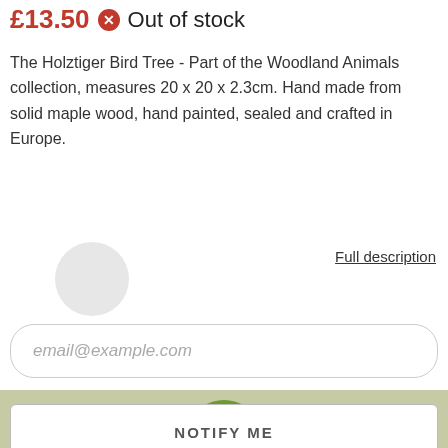£13.50 ✕ Out of stock
The Holztiger Bird Tree - Part of the Woodland Animals collection, measures 20 x 20 x 2.3cm. Hand made from solid maple wood, hand painted, sealed and crafted in Europe.
Full description
email@example.com
NOTIFY ME
We use cookies to ensure you get the best experience on our website. Learn more
♥ ADD TO WISHLIST
Got it!